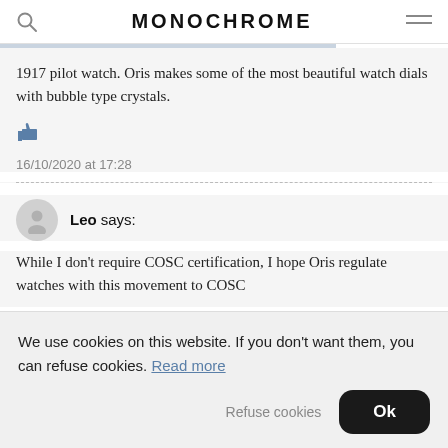MONOCHROME
1917 pilot watch. Oris makes some of the most beautiful watch dials with bubble type crystals.
16/10/2020 at 17:28
Leo says:
While I don't require COSC certification, I hope Oris regulate watches with this movement to COSC
We use cookies on this website. If you don't want them, you can refuse cookies. Read more
Refuse cookies
Ok